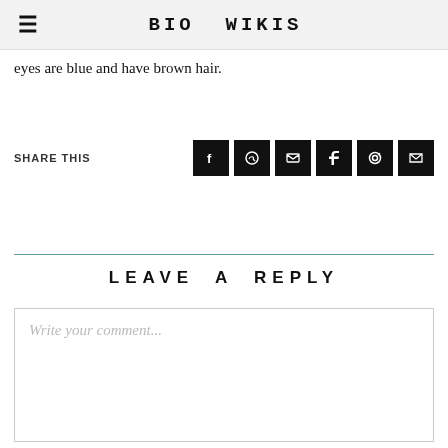BIO WIKIS
eyes are blue and have brown hair.
SHARE THIS
LEAVE A REPLY
Write your comment...